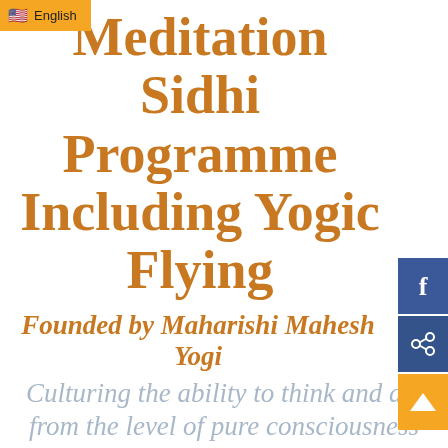English
Meditation Sidhi Programme Including Yogic Flying
Founded by Maharishi Mahesh Yogi
Culturing the ability to think and act from the level of pure consciousness